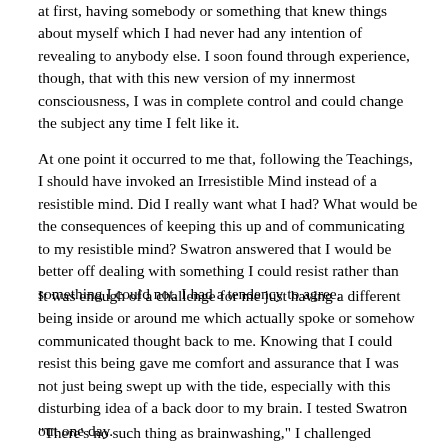at first, having somebody or something that knew things about myself which I had never had any intention of revealing to anybody else. I soon found through experience, though, that with this new version of my innermost consciousness, I was in complete control and could change the subject any time I felt like it.
At one point it occurred to me that, following the Teachings, I should have invoked an Irresistible Mind instead of a resistible mind. Did I really want what I had? What would be the consequences of keeping this up and of communicating to my resistible mind? Swatron answered that I would be better off dealing with something I could resist rather than something I could not. I had a tendency to agree.
It was enough of a challenge for me just having a different being inside or around me which actually spoke or somehow communicated thought back to me. Knowing that I could resist this being gave me comfort and assurance that I was not just being swept up with the tide, especially with this disturbing idea of a back door to my brain. I tested Swatron out one day.
"There's no such thing as brainwashing," I challenged